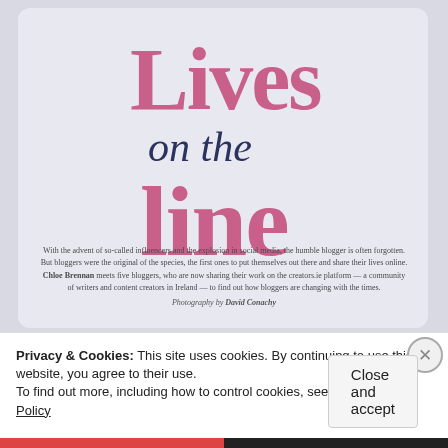[Figure (photo): Magazine article page with lavender/grey background showing article title and introductory text]
Lives on the line
With the advent of so-called influencers and the explosion in social media, the humble blogger is often forgotten. But bloggers were the original of the species, the first ones to put themselves out there and share their lives online. Chloe Brennan meets five bloggers, who are now sharing their work on the creators.ie platform — a community of writers and content creators in Ireland — to find out how bloggers are changing with the times.
Photography by David Conachy
Privacy & Cookies: This site uses cookies. By continuing to use this website, you agree to their use. To find out more, including how to control cookies, see here: Cookie Policy
Close and accept